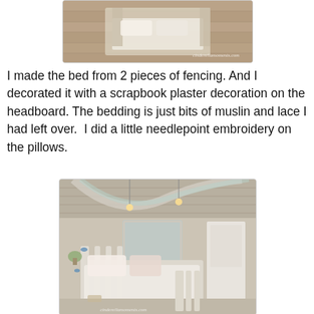[Figure (photo): Top cropped photo showing a DIY miniature bed made from fencing pieces with lace bedding, shot from above. Watermark reads cinderellamoments.com]
I made the bed from 2 pieces of fencing. And I decorated it with a scrapbook plaster decoration on the headboard. The bedding is just bits of muslin and lace I had left over.  I did a little needlepoint embroidery on the pillows.
[Figure (photo): Photo of a shabby chic dollhouse or miniature room scene featuring a small white bed with lace and pink pillows, draped fabric bunting hanging from the ceiling, miniature furniture, small blue bird decorations, and plants. Watermark at bottom reads cinderellamoments.com]